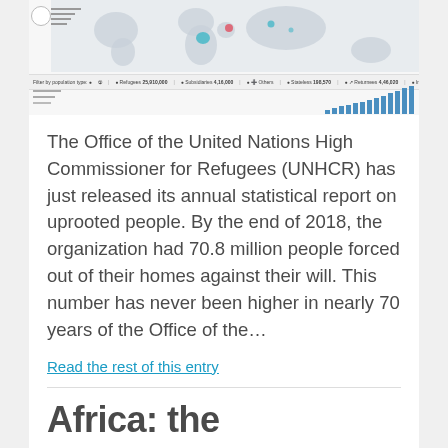[Figure (screenshot): Screenshot of UNHCR interactive world map showing refugee populations by country, with a filter bar, population type selector, and a small bar chart in the bottom right corner.]
The Office of the United Nations High Commissioner for Refugees (UNHCR) has just released its annual statistical report on uprooted people. By the end of 2018, the organization had 70.8 million people forced out of their homes against their will. This number has never been higher in nearly 70 years of the Office of the...
Read the rest of this entry
Africa: the